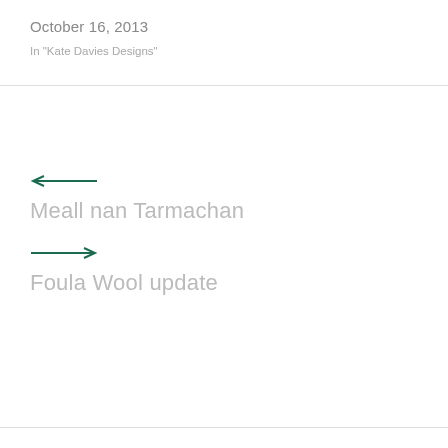October 16, 2013
In "Kate Davies Designs"
← Meall nan Tarmachan
→ Foula Wool update